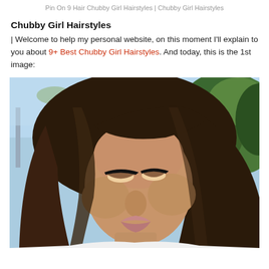Pin On 9 Hair Chubby Girl Hairstyles | Chubby Girl Hairstyles
Chubby Girl Hairstyles
| Welcome to help my personal website, on this moment I'll explain to you about 9+ Best Chubby Girl Hairstyles. And today, this is the 1st image:
[Figure (photo): Close-up photo of a young woman with long wavy brown hair, wearing eyeliner, looking downward. Background shows trees and blue sky (outdoor setting).]